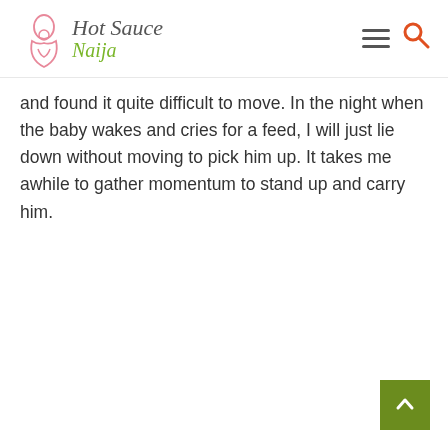Hot Sauce Naija
and found it quite difficult to move. In the night when the baby wakes and cries for a feed, I will just lie down without moving to pick him up. It takes me awhile to gather momentum to stand up and carry him.